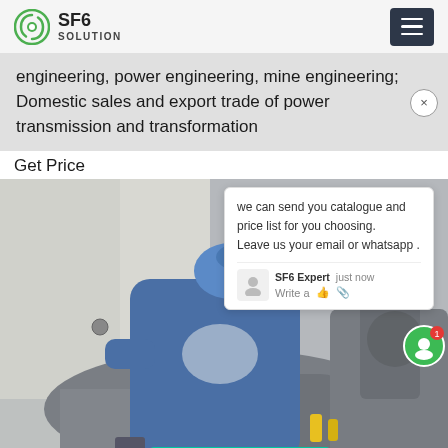SF6 SOLUTION
engineering, power engineering, mine engineering; Domestic sales and export trade of power transmission and transformation
Get Price
[Figure (photo): A technician in a blue jumpsuit and hard hat sitting on large industrial SF6 gas equipment/pipes in an industrial facility]
we can send you catalogue and price list for you choosing. Leave us your email or whatsapp . SF6 Expert   just now  Write a